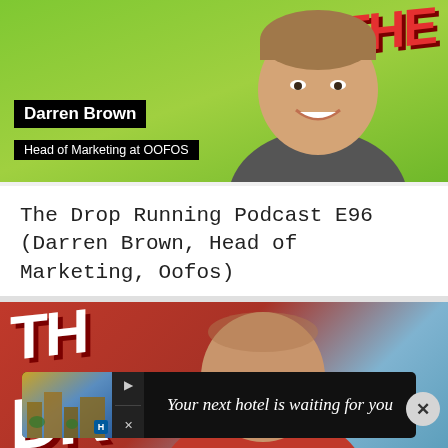[Figure (photo): Podcast thumbnail showing smiling man with green background and black name overlays reading 'Darren Brown' and 'Head of Marketing at OOFOS', with red 'The Drop' logo]
The Drop Running Podcast E96 (Darren Brown, Head of Marketing, Oofos)
[Figure (photo): Second podcast thumbnail showing bald man smiling against red and blue background with 'The Drop' text and 'EVE' visible]
[Figure (other): Advertisement banner reading 'Your next hotel is waiting for you' with hotel image and close button]